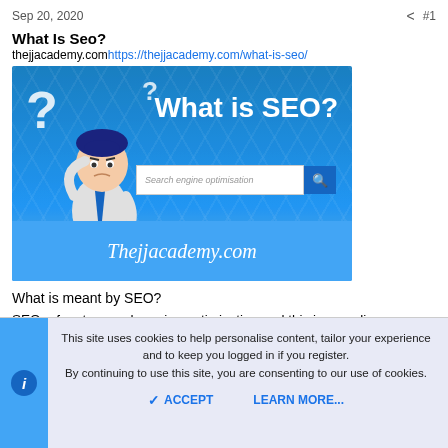Sep 20, 2020  #1
What Is Seo?
thejjacademy.com https://thejjacademy.com/what-is-seo/
[Figure (illustration): Promotional banner image for 'What is SEO?' article on thejjacademy.com. Shows a cartoon man scratching his head with question marks, a search bar with text 'Search engine optimisation', and the site URL at the bottom on a blue background.]
What is meant by SEO?
SEO refers to search engine optimization.and this is an online marketing technique that we can use to get any keyword from
This site uses cookies to help personalise content, tailor your experience and to keep you logged in if you register.
By continuing to use this site, you are consenting to our use of cookies.
ACCEPT   LEARN MORE...